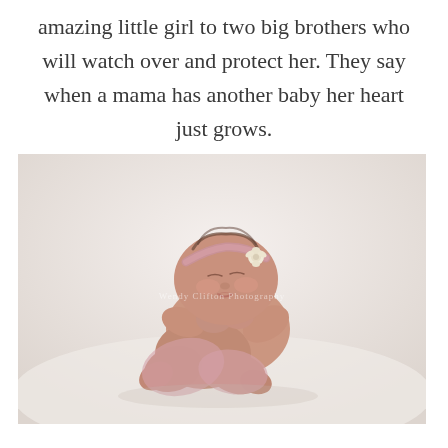amazing little girl to two big brothers who will watch over and protect her. They say when a mama has another baby her heart just grows.
[Figure (photo): A sleeping newborn baby girl posed on a soft white fluffy blanket, wearing a pink headband with a small cream flower. The baby is curled up with knees tucked under, eyes closed, photographed from above in a professional newborn photography style. A faint watermark text is visible in the center of the image.]